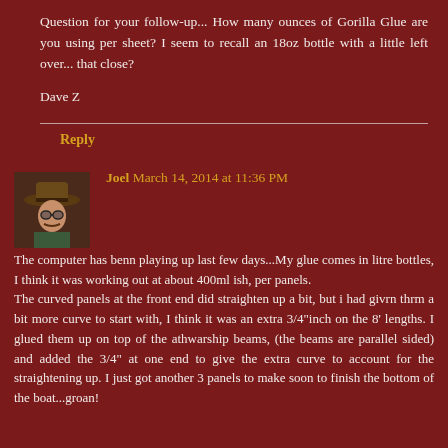Question for your follow-up... How many ounces of Gorilla Glue are you using per sheet? I seem to recall an 18oz bottle with a little left over... that close?
Dave Z
Reply
Joel March 14, 2014 at 11:36 PM
The computer has benn playing up last few days...My glue comes in litre bottles, I think it was working out at about 400ml ish, per panels.
The curved panels at the front end did straighten up a bit, but i had givrn thrm a bit more curve to start with, I think it was an extra 3/4"inch on the 8' lengths. I glued them up on top of the athwarship beams, (the beams are parallel sided) and added the 3/4" at one end to give the extra curve to account for the straightening up. I just got another 3 panels to make soon to finish the bottom of the boat...groan!